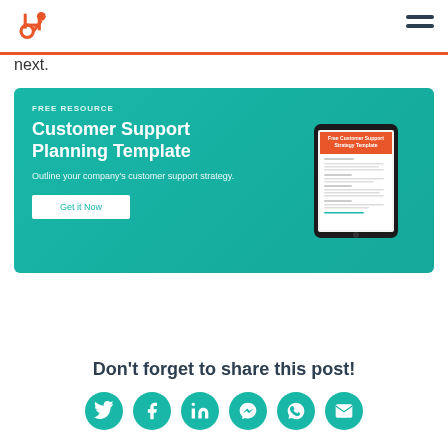HubSpot logo and navigation
next.
[Figure (infographic): Free Resource banner with teal gradient background. Title: Customer Support Planning Template. Subtitle: Outline your company's customer support strategy. Button: Get it Now. Right side shows a tablet device displaying a Free Customer Support Strategy Template document.]
Don't forget to share this post!
[Figure (infographic): Six teal circular social share icons: Twitter, Facebook, LinkedIn, Messenger, WhatsApp, Email]